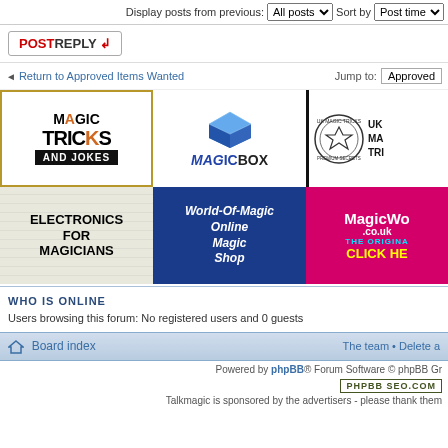Display posts from previous: All posts  Sort by  Post time
POSTREPLY
Return to Approved Items Wanted   Jump to: Approved
[Figure (advertisement): Magic Tricks and Jokes logo advertisement - gold bordered, black text with orange A]
[Figure (advertisement): MagicBox advertisement with blue cube logo]
[Figure (advertisement): UK Magic Tricks advertisement with circular seal logo]
[Figure (advertisement): Electronics for Magicians advertisement]
[Figure (advertisement): World-Of-Magic Online Magic Shop advertisement, dark blue background]
[Figure (advertisement): MagicWorld.co.uk THE ORIGINAL CLICK HERE - pink/magenta background]
WHO IS ONLINE
Users browsing this forum: No registered users and 0 guests
Board index   The team • Delete a
Powered by phpBB® Forum Software © phpBB Gr
PHPBB SEO.COM
Talkmagic is sponsored by the advertisers - please thank them